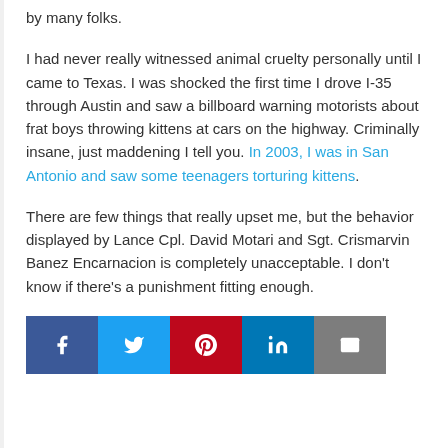by many folks.
I had never really witnessed animal cruelty personally until I came to Texas. I was shocked the first time I drove I-35 through Austin and saw a billboard warning motorists about frat boys throwing kittens at cars on the highway. Criminally insane, just maddening I tell you. In 2003, I was in San Antonio and saw some teenagers torturing kittens.
There are few things that really upset me, but the behavior displayed by Lance Cpl. David Motari and Sgt. Crismarvin Banez Encarnacion is completely unacceptable. I don't know if there's a punishment fitting enough.
[Figure (infographic): Social sharing buttons: Facebook (blue), Twitter (light blue), Pinterest (red), LinkedIn (dark blue), Email (gray)]